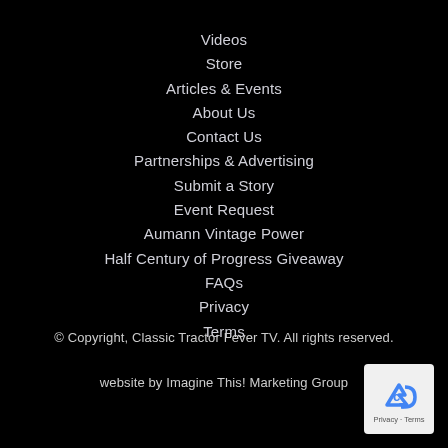Videos
Store
Articles & Events
About Us
Contact Us
Partnerships & Advertising
Submit a Story
Event Request
Aumann Vintage Power
Half Century of Progress Giveaway
FAQs
Privacy
Terms
© Copyright, Classic Tractor Fever TV. All rights reserved.
website by Imagine This! Marketing Group
[Figure (logo): reCAPTCHA badge with recycling arrow icon and Privacy · Terms text]